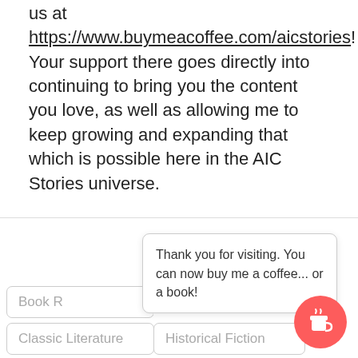us at https://www.buymeacoffee.com/aicstories! Your support there goes directly into continuing to bring you the content you love, as well as allowing me to keep growing and expanding that which is possible here in the AIC Stories universe.
No matter how you support AIC Stories I greatly appreciate it and appreciate YOU spending some time with me.
Keep reading, listening, watching and most of all… enjoying stories!
[Figure (screenshot): A tooltip/popup box with text 'Thank you for visiting. You can now buy me a coffee... or a book!' overlapping the bottom of the page, with a red circular coffee cup icon button in the bottom right corner, and partially visible UI tags 'Book R...' and 'Classic Literature / Historical Fiction' at the bottom.]